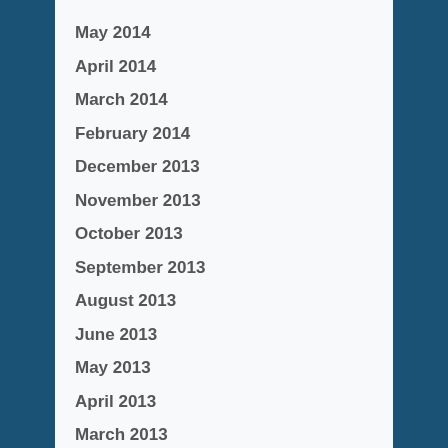May 2014
April 2014
March 2014
February 2014
December 2013
November 2013
October 2013
September 2013
August 2013
June 2013
May 2013
April 2013
March 2013